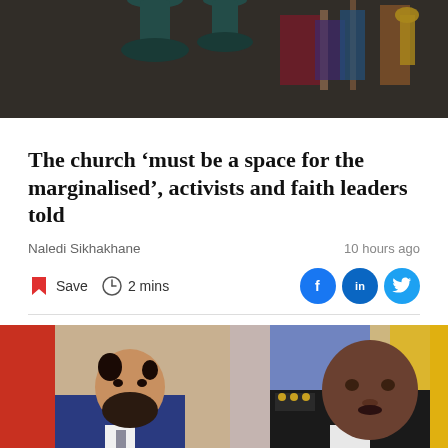[Figure (photo): Top photo showing dark room with hanging lamps and decorative items in background]
The church ‘must be a space for the marginalised’, activists and faith leaders told
Naledi Sikhakhane
10 hours ago
Save  2 mins
[Figure (photo): Two men seated at a table — a man with a beard in a blue suit and a man in police/security uniform with epaulettes, in front of flags (orange/red and blue/yellow)]